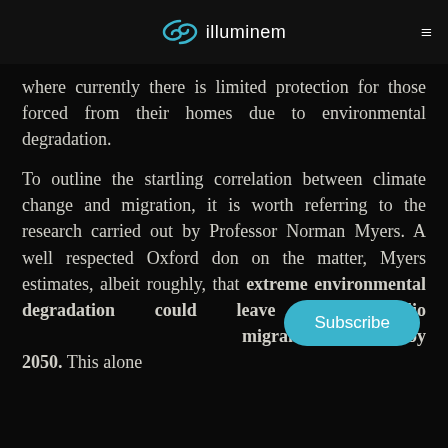illuminem
where currently there is limited protection for those forced from their homes due to environmental degradation.
To outline the startling correlation between climate change and migration, it is worth referring to the research carried out by Professor Norman Myers. A well respected Oxford don on the matter, Myers estimates, albeit roughly, that extreme environmental degradation could leave 200 million migrants displaced by 2050. This alone